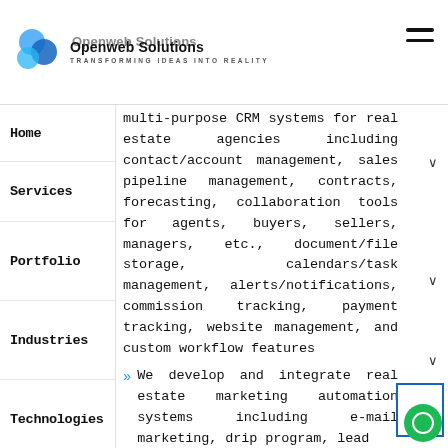[Figure (logo): Openweb Solutions logo with blue swirl icon and text 'Openweb Solutions / TRANSFORMING IDEAS INTO REALITY']
Home
Services
Portfolio
Industries
Technologies
Company
Blog
Contact
multi-purpose CRM systems for real estate agencies including contact/account management, sales pipeline management, contracts, forecasting, collaboration tools for agents, buyers, sellers, managers, etc., document/file storage, calendars/task management, alerts/notifications, commission tracking, payment tracking, website management, and custom workflow features
We develop and integrate real estate marketing automation systems including e-mail marketing, drip program, lead...